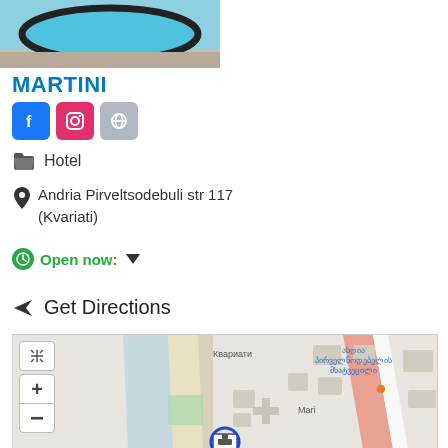[Figure (photo): Aerial or overhead photo of a swimming pool with dark border, turquoise water, and surrounding pavement]
MARTINI
[Figure (infographic): Three social media buttons: Facebook (blue), Instagram (red/pink), and Website/link (grey)]
Hotel
Andria Pirveltsodebuli str 117 (Kvariati)
Open now:
Get Directions
[Figure (map): Street map showing Kvariati area with colored building footprints, street labels in Georgian script (ახდია პირველნოდებელის მხატვეცილი), Mari label, zoom controls, and a hotel marker pin at bottom center]